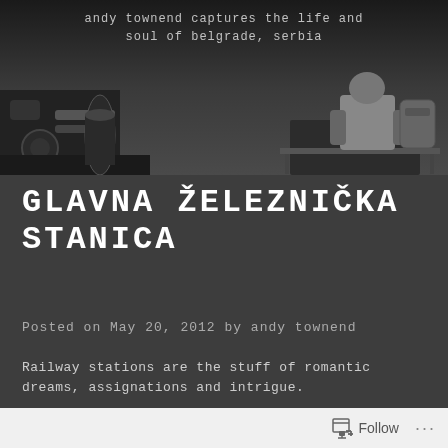[Figure (photo): Black and white photograph of a person sitting on a bench at a train station, seen from behind, with train carriages and machinery visible. Overlaid text reads 'andy townend captures the life and soul of belgrade, serbia']
GLAVNA ŽELEZNIČKA STANICA
Posted on May 20, 2012 by andy townend
Railway stations are the stuff of romantic dreams, assignations and intrigue.
Countless films have revolved around journeys by train, the destinations, the
Follow ...